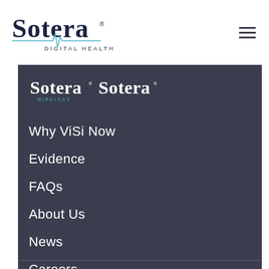[Figure (logo): Sotera Digital Health logo — bold dark navy 'Sotera' wordmark with registered trademark symbol, blue ECG heartbeat line underline, and 'DIGITAL HEALTH' text below in spaced capitals]
[Figure (logo): Hamburger menu icon — three horizontal dark lines]
[Figure (logo): Dark navigation panel with two Sotera logos (Sotera Wireless and plain Sotera) side by side in white]
Why ViSi Now
Evidence
FAQs
About Us
News
Careers
Contact Us